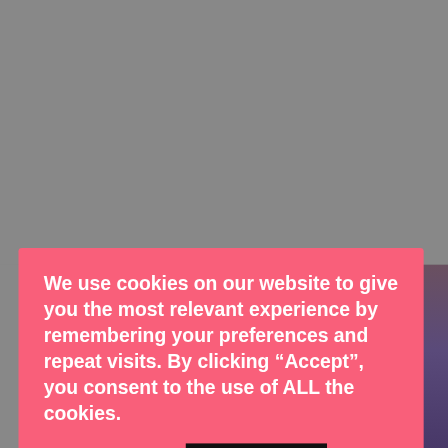[Figure (screenshot): Website screenshot showing a cookie consent overlay on a fitness/yoga content page. The overlay is salmon/coral pink with white bold text. Below is a yoga pose photo on a purple mat. At bottom is a CarMax advertisement bar.]
We use cookies on our website to give you the most relevant experience by remembering your preferences and repeat visits. By clicking “Accept”, you consent to the use of ALL the cookies.
Cookie settings
ACCEPT
45
WHAT'S NEXT → How to Lose Body Fat...
Lay in your back with your knees bent and your hands by yo...
Buy Your Used Car Your Way CarMax